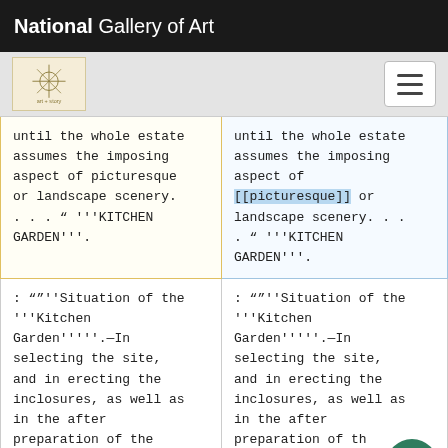National Gallery of Art
until the whole estate assumes the imposing aspect of picturesque or landscape scenery. . . . “ '''KITCHEN GARDEN'''.
until the whole estate assumes the imposing aspect of [[picturesque]] or landscape scenery. . . . “ '''KITCHEN GARDEN'''.
: “"''Situation of the '''Kitchen Garden'''''.—In selecting the site, and in erecting the inclosures, as well as in the after preparation of the soil, the ingenuity and science of the
: “"''Situation of the '''Kitchen Garden'''''.—In selecting the site, and in erecting the inclosures, as well as in the after preparation of the soil, the ingenuity and science of the